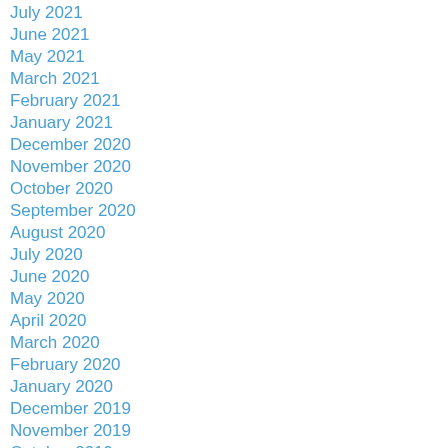July 2021
June 2021
May 2021
March 2021
February 2021
January 2021
December 2020
November 2020
October 2020
September 2020
August 2020
July 2020
June 2020
May 2020
April 2020
March 2020
February 2020
January 2020
December 2019
November 2019
October 2019